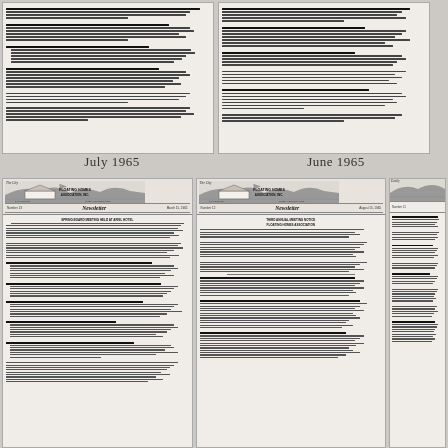[Figure (photo): Scanned newsletter page dated July 1965 showing Floating Homes Association newsletter content with multiple text columns]
July 1965
[Figure (photo): Scanned newsletter page dated June 1965 showing Floating Homes Association newsletter content with multiple text columns]
June 1965
[Figure (photo): Scanned newsletter page showing Floating Homes Association, Inc. newsletter with logo header, issue number, and detailed text content]
[Figure (photo): Scanned newsletter page showing Floating Homes Association, Inc. newsletter with logo header and detailed text content]
[Figure (photo): Partial scanned newsletter page showing right edge of Floating Homes Association newsletter]